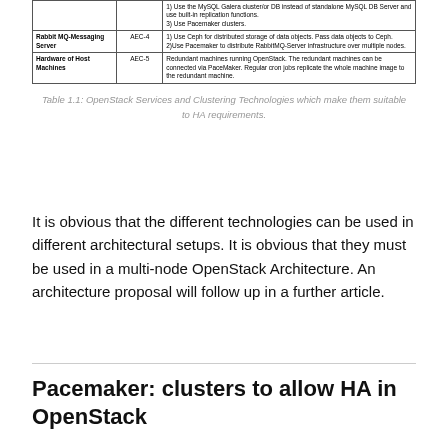|  |  |  |
| --- | --- | --- |
| Rabbit MQ-Messaging Server | AEC-4 | 1) Use Ceph for distributed storage of data objects. Pass data objects to Ceph.
2)Use Pacemaker to distribute RabbitMQ-Server infrastructure over multiple nodes. |
| Hardware of Host Machines | AEC-5 | Redundant machines running OpenStack. The redundant machines can be connected via PaceMaker. Regular cron jobs replicate the whole machine image to the redundant machine. |
Table 1.1: OpenStack Services and Clustering Technologies which make them suitable to HA requirements.
It is obvious that the different technologies can be used in different architectural setups. It is obvious that they must be used in a multi-node OpenStack Architecture. An architecture proposal will follow up in a further article.
Pacemaker: clusters to allow HA in OpenStack